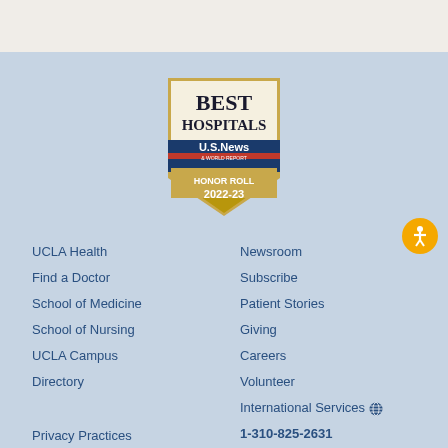[Figure (logo): US News & World Report Best Hospitals Honor Roll 2022-23 badge/shield in gold and blue]
UCLA Health
Find a Doctor
School of Medicine
School of Nursing
UCLA Campus
Directory
Newsroom
Subscribe
Patient Stories
Giving
Careers
Volunteer
International Services
Privacy Practices
1-310-825-2631